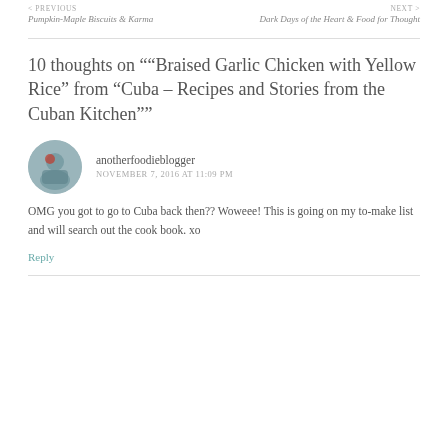< PREVIOUS
Pumpkin-Maple Biscuits & Karma
NEXT >
Dark Days of the Heart & Food for Thought
10 thoughts on "“Braised Garlic Chicken with Yellow Rice” from “Cuba – Recipes and Stories from the Cuban Kitchen”"
anotherfoodieblogger
NOVEMBER 7, 2016 AT 11:09 PM
OMG you got to go to Cuba back then?? Woweee! This is going on my to-make list and will search out the cook book. xo
Reply